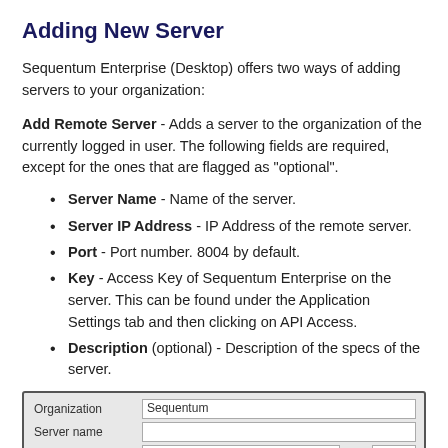Adding New Server
Sequentum Enterprise (Desktop) offers two ways of adding servers to your organization:
Add Remote Server - Adds a server to the organization of the currently logged in user. The following fields are required, except for the ones that are flagged as "optional".
Server Name - Name of the server.
Server IP Address - IP Address of the remote server.
Port - Port number. 8004 by default.
Key - Access Key of Sequentum Enterprise on the server. This can be found under the Application Settings tab and then clicking on API Access.
Description (optional) - Description of the specs of the server.
[Figure (screenshot): Screenshot of Add Remote Server form showing fields: Organization (filled with 'Sequentum'), Server name (empty), Server IP address (empty) with Port field showing 8004, and a red-highlighted row at the bottom.]